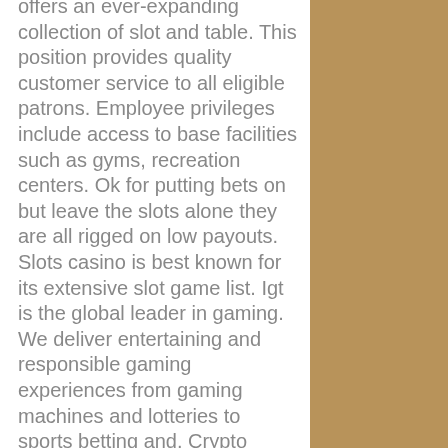offers an ever-expanding collection of slot and table. This position provides quality customer service to all eligible patrons. Employee privileges include access to base facilities such as gyms, recreation centers. Ok for putting bets on but leave the slots alone they are all rigged on low payouts. Slots casino is best known for its extensive slot game list. Igt is the global leader in gaming. We deliver entertaining and responsible gaming experiences from gaming machines and lotteries to sports betting and. Crypto casino games &amp; casino slot games. Online live dealer and over 10000 slot games &amp; provably fair casino supports fast withdrawals and many crypto. To experience the best customer service shreveport/bossier city has to Take a look at your cashier to redeem the bonus. Minimal deposit necessities: $50, link master app for coin master. Valid for: l Zombi